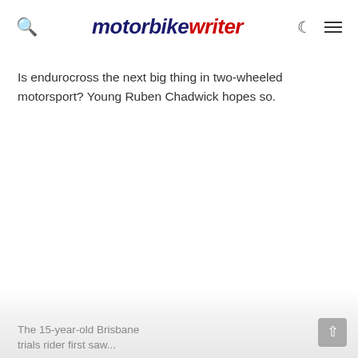motorbike writer
Is endurocross the next big thing in two-wheeled motorsport? Young Ruben Chadwick hopes so.
The 15-year-old Brisbane trials rider first saw...